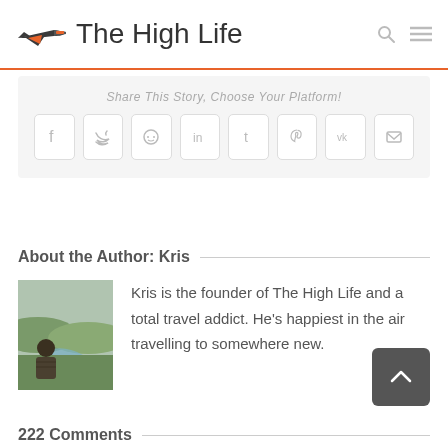The High Life
Share This Story, Choose Your Platform!
[Figure (screenshot): Social share buttons: Facebook, Twitter, Reddit, LinkedIn, Tumblr, Pinterest, VK, Email]
About the Author: Kris
[Figure (photo): Photo of Kris, a man overlooking a landscape with a river and green hills]
Kris is the founder of The High Life and a total travel addict. He’s happiest in the air travelling to somewhere new.
222 Comments